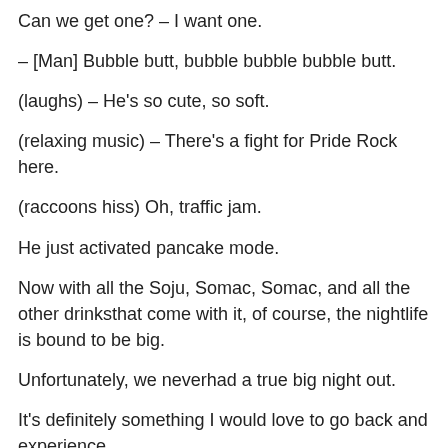Can we get one? – I want one.
– [Man] Bubble butt, bubble bubble bubble butt.
(laughs) – He's so cute, so soft.
(relaxing music) – There's a fight for Pride Rock here.
(raccoons hiss) Oh, traffic jam.
He just activated pancake mode.
Now with all the Soju, Somac, Somac, and all the other drinksthat come with it, of course, the nightlife is bound to be big.
Unfortunately, we neverhad a true big night out.
It's definitely something I would love to go back and experience.